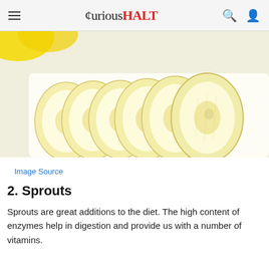curiousHALT
[Figure (photo): Close-up photo of sliced banana pieces arranged in a row on a white surface, with a yellow banana visible in the top-left corner.]
Image Source
2. Sprouts
Sprouts are great additions to the diet. The high content of enzymes help in digestion and provide us with a number of vitamins.